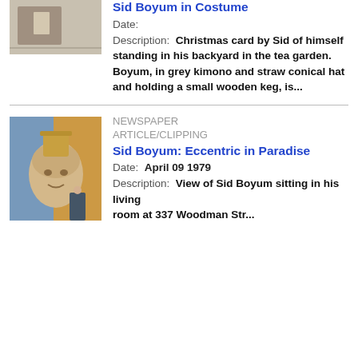[Figure (photo): Small thumbnail of Sid Boyum in Costume - partial image visible at top]
Sid Boyum in Costume
Date:
Description:  Christmas card by Sid of himself standing in his backyard in the tea garden. Boyum, in grey kimono and straw conical hat and holding a small wooden keg, is...
[Figure (photo): Thumbnail photo of large sculptural head in an interior room with murals, person sitting in background - related to Sid Boyum: Eccentric in Paradise article]
NEWSPAPER ARTICLE/CLIPPING
Sid Boyum: Eccentric in Paradise
Date:  April 09 1979
Description:  View of Sid Boyum sitting in his living room at 337 Woodman Street...